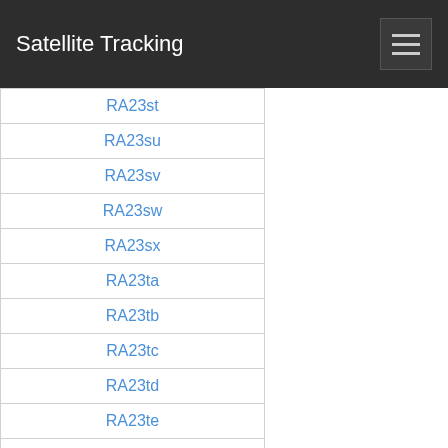Satellite Tracking
RA23st
RA23su
RA23sv
RA23sw
RA23sx
RA23ta
RA23tb
RA23tc
RA23td
RA23te
RA23tf
RA23tg
RA23th
RA23ti
RA23tj
RA23tk
RA23tl
RA23tm